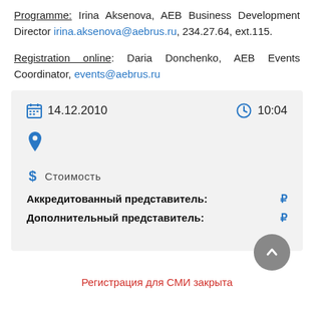Programme: Irina Aksenova, AEB Business Development Director irina.aksenova@aebrus.ru, 234.27.64, ext.115.
Registration online: Daria Donchenko, AEB Events Coordinator, events@aebrus.ru
[Figure (infographic): Event info box with date 14.12.2010, time 10:04, location pin icon, cost section with Стоимость label, price rows for Аккредитованный представитель and Дополнительный представитель with ruble icons, and a scroll-up button]
Регистрация для СМИ закрыта